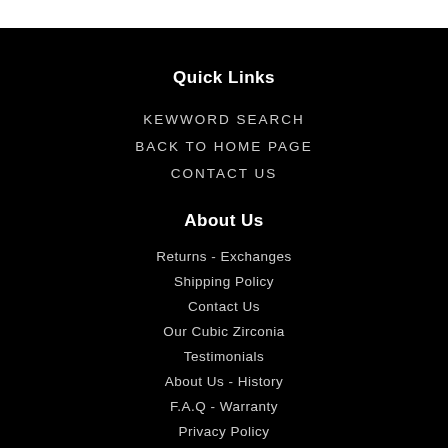Quick Links
KEWWORD SEARCH
BACK TO HOME PAGE
CONTACT US
About Us
Returns - Exchanges
Shipping Policy
Contact Us
Our Cubic Zirconia
Testimonials
About Us - History
F.A.Q - Warranty
Privacy Policy
Financing